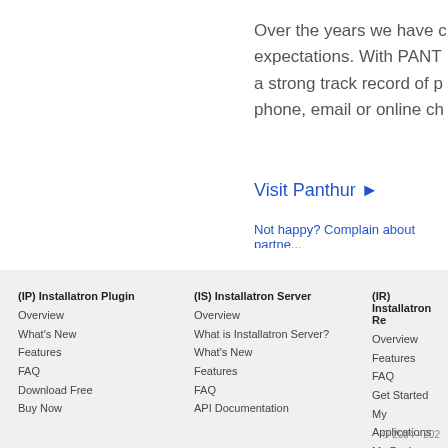Over the years we have c... expectations. With PANT... a strong track record of p... phone, email or online ch...
Visit Panthur ▶
Not happy? Complain about partne...
(IP) Installatron Plugin
Overview
What's New
Features
FAQ
Download Free
Buy Now
(IS) Installatron Server
Overview
What is Installatron Server?
What's New
Features
FAQ
API Documentation
(IR) Installatron Re...
Overview
Features
FAQ
Get Started
My Applications
My Backups
© 2004 - 202...